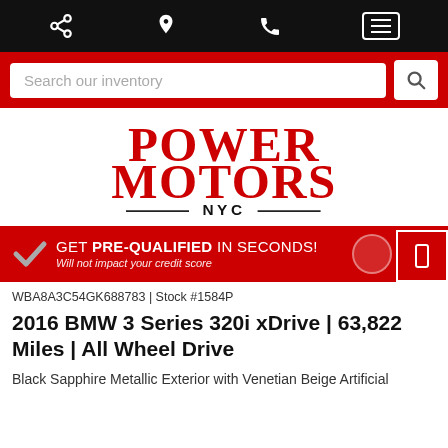Navigation bar with share, location, phone, and menu icons
[Figure (logo): Power Motors NYC logo in red serif font with decorative lines flanking NYC]
[Figure (infographic): Red banner: GET PRE-QUALIFIED IN SECONDS! Will not impact your credit score]
WBA8A3C54GK688783 | Stock #1584P
2016 BMW 3 Series 320i xDrive | 63,822 Miles | All Wheel Drive
Black Sapphire Metallic Exterior with Venetian Beige Artificial